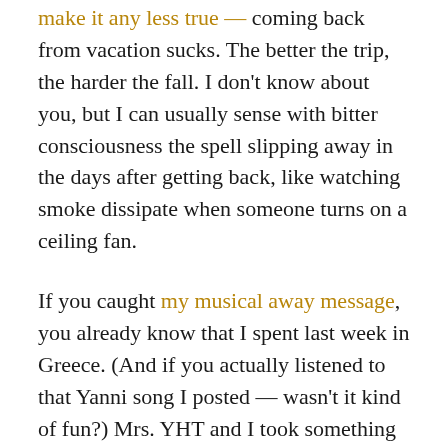make it any less true — coming back from vacation sucks. The better the trip, the harder the fall. I don't know about you, but I can usually sense with bitter consciousness the spell slipping away in the days after getting back, like watching smoke dissipate when someone turns on a ceiling fan.
If you caught my musical away message, you already know that I spent last week in Greece. (And if you actually listened to that Yanni song I posted — wasn't it kind of fun?) Mrs. YHT and I took something of a second honeymoon, splitting time between Athens and a pair of islands that were just obscenely beautiful. I mean look at that. It's unreasonable. It's the